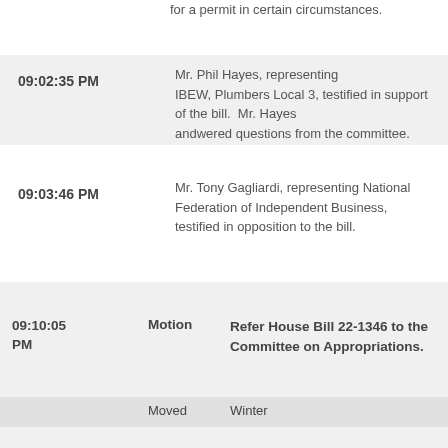for a permit in certain circumstances.
| Time | Description |
| --- | --- |
| 09:02:35 PM | Mr. Phil Hayes, representing IBEW, Plumbers Local 3, testified in support of the bill.  Mr. Hayes andwered questions from the committee. |
| 09:03:46 PM | Mr. Tony Gagliardi, representing National Federation of Independent Business, testified in opposition to the bill. |
| Time | Type | Description |
| --- | --- | --- |
| 09:10:05 PM | Motion | Refer House Bill 22-1346 to the Committee on Appropriations. |
|  | Moved | Winter |
|  | Seconded |  |